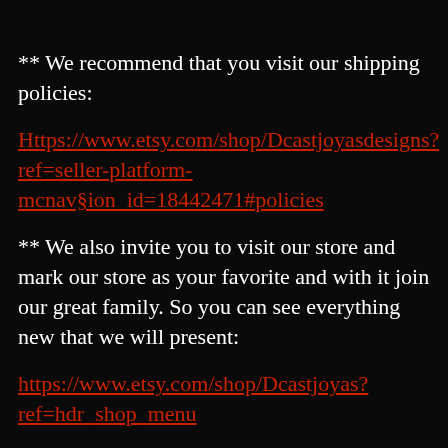** We recommend that you visit our shipping policies:
Https://www.etsy.com/shop/Dcastjoyasdesigns?ref=seller-platform-mcnav§ion_id=18442471#policies
** We also invite you to visit our store and mark our store as your favorite and with it join our great family. So you can see everything new that we will present:
https://www.etsy.com/shop/Dcastjoyas?ref=hdr_shop_menu
** And if you want to see our work process and